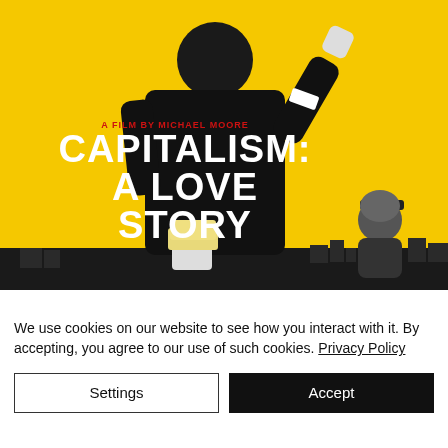[Figure (illustration): Movie poster for 'Capitalism: A Love Story' — a film by Michael Moore. Yellow background with a silhouette of a man in a black suit, back turned, one arm raised. Large white stylized text reads 'CAPITALISM: A LOVE STORY'. Red text above reads 'A FILM BY MICHAEL MOORE'. A man (Michael Moore) in dark clothing stands in the lower right. A hand holds money at the bottom.]
We use cookies on our website to see how you interact with it. By accepting, you agree to our use of such cookies. Privacy Policy
Settings
Accept